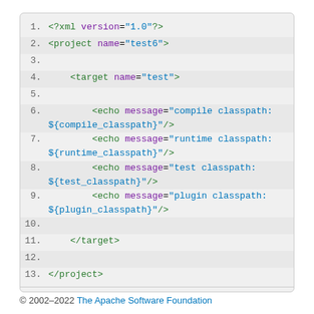[Figure (screenshot): Code block showing XML/Ant build file with 13 numbered lines. Lines include XML declaration, project tag, target tag, echo elements for compile/runtime/test/plugin classpaths, closing target and project tags.]
© 2002–2022 The Apache Software Foundation